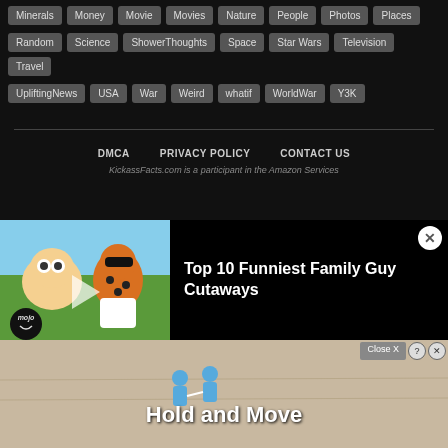Minerals Money Movie Movies Nature People Photos Places
Random Science ShowerThoughts Space Star Wars Television Travel
UpliftingNews USA War Weird whatif WorldWar Y3K
DMCA   PRIVACY POLICY   CONTACT US
KickassFacts.com is a participant in the Amazon Services
[Figure (screenshot): Video popup showing Top 10 Funniest Family Guy Cutaways with cartoon thumbnail (Stewie and animated leopard character), mojo badge, and close button]
[Figure (screenshot): Advertisement banner with Close X button, help/close icons, blue figures, and 'Hold and Move' text on sandy background]